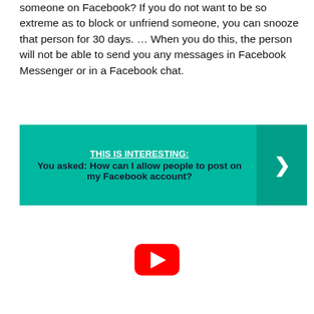someone on Facebook? If you do not want to be so extreme as to block or unfriend someone, you can snooze that person for 30 days. … When you do this, the person will not be able to send you any messages in Facebook Messenger or in a Facebook chat.
[Figure (infographic): Teal/green banner with text: THIS IS INTERESTING: You asked: How can I allow people to post on my Facebook account? with a right-arrow button on the right side.]
[Figure (screenshot): YouTube play button (red rounded rectangle with white triangle play icon)]